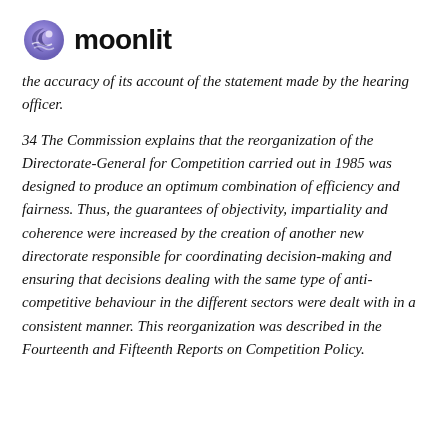moonlit
the accuracy of its account of the statement made by the hearing officer.
34 The Commission explains that the reorganization of the Directorate-General for Competition carried out in 1985 was designed to produce an optimum combination of efficiency and fairness. Thus, the guarantees of objectivity, impartiality and coherence were increased by the creation of another new directorate responsible for coordinating decision-making and ensuring that decisions dealing with the same type of anti-competitive behaviour in the different sectors were dealt with in a consistent manner. This reorganization was described in the Fourteenth and Fifteenth Reports on Competition Policy.